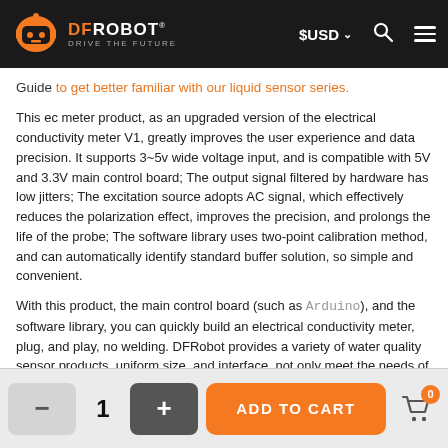DFRobot — DRIVE THE FUTURE | $USD | Search | Menu
Guide to get better familiar with our liquid sensor series.
This ec meter product, as an upgraded version of the electrical conductivity meter V1, greatly improves the user experience and data precision. It supports 3~5v wide voltage input, and is compatible with 5V and 3.3V main control board; The output signal filtered by hardware has low jitters; The excitation source adopts AC signal, which effectively reduces the polarization effect, improves the precision, and prolongs the life of the probe; The software library uses two-point calibration method, and can automatically identify standard buffer solution, so simple and convenient.
With this product, the main control board (such as Arduino), and the software library, you can quickly build an electrical conductivity meter, plug, and play, no welding. DFRobot provides a variety of water quality sensor products, uniform size, and interface, not only meet the needs of various water quality testing but also suitable